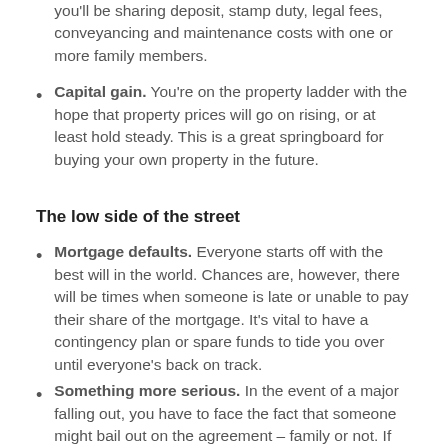you'll be sharing deposit, stamp duty, legal fees, conveyancing and maintenance costs with one or more family members.
Capital gain. You're on the property ladder with the hope that property prices will go on rising, or at least hold steady. This is a great springboard for buying your own property in the future.
The low side of the street
Mortgage defaults. Everyone starts off with the best will in the world. Chances are, however, there will be times when someone is late or unable to pay their share of the mortgage. It's vital to have a contingency plan or spare funds to tide you over until everyone's back on track.
Something more serious. In the event of a major falling out, you have to face the fact that someone might bail out on the agreement – family or not. If